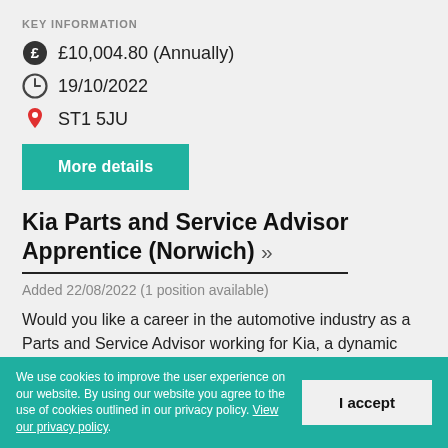KEY INFORMATION
£10,004.80 (Annually)
19/10/2022
ST1 5JU
More details
Kia Parts and Service Advisor Apprentice (Norwich) »
Added 22/08/2022 (1 position available)
Would you like a career in the automotive industry as a Parts and Service Advisor working for Kia, a dynamic and exciting brand whose company ethos is 'Family-like Care'? For the right person, there is the
We use cookies to improve the user experience on our website. By using our website you agree to the use of cookies outlined in our privacy policy. View our privacy policy.